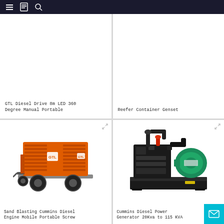Navigation bar with menu, logo, and search icons
GTL Diesel Drive 8m LED 360 Degree Manual Portable
Reefer Container Genset
[Figure (photo): Orange Sand Blasting Cummins Diesel Engine Mobile Portable Screw compressor on wheels]
Sand Blasting Cummins Diesel Engine Mobile Portable Screw
[Figure (photo): Cummins Diesel Power Generator open frame unit, green alternator, black base frame]
Cummins Diesel Power Generator 20Kva to 115 KVA